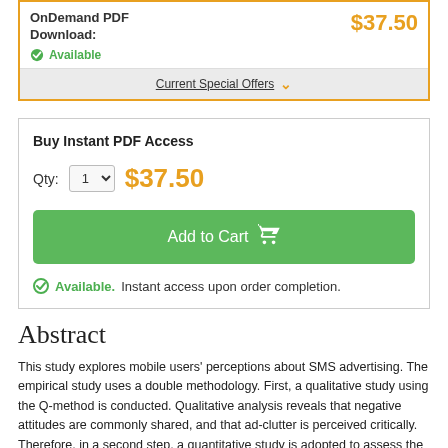OnDemand PDF Download: $37.50 Available
Current Special Offers
Buy Instant PDF Access
Qty: 1  $37.50
Add to Cart
Available. Instant access upon order completion.
Abstract
This study explores mobile users' perceptions about SMS advertising. The empirical study uses a double methodology. First, a qualitative study using the Q-method is conducted. Qualitative analysis reveals that negative attitudes are commonly shared, and that ad-clutter is perceived critically. Therefore, in a second step, a quantitative study is adopted to assess the impact of attitudes towards SMS advertising and perceived ad-clutter on reading behaviour. The main test is conducted over a representative sample of 303 mobile owners